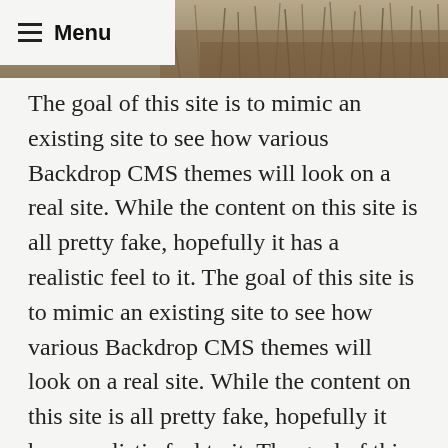[Figure (photo): Background photograph of wild grasses or reeds in a natural outdoor setting, muted brown and tan tones]
☰ Menu
The goal of this site is to mimic an existing site to see how various Backdrop CMS themes will look on a real site. While the content on this site is all pretty fake, hopefully it has a realistic feel to it. The goal of this site is to mimic an existing site to see how various Backdrop CMS themes will look on a real site. While the content on this site is all pretty fake, hopefully it has a realistic feel to it. The goal of this site is to mimic an existing site to see how various Backdrop CMS themes will look on a real site. While the content on this site is all pretty fake, hopefully it has a realistic feel to it.